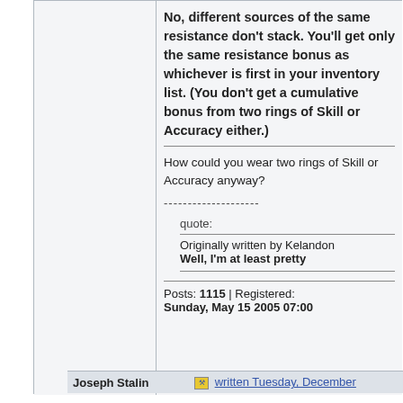No, different sources of the same resistance don't stack. You'll get only the same resistance bonus as whichever is first in your inventory list. (You don't get a cumulative bonus from two rings of Skill or Accuracy either.)
How could you wear two rings of Skill or Accuracy anyway?
--------------------
quote:
Originally written by Kelandon
Well, I'm at least pretty
Posts: 1115 | Registered: Sunday, May 15 2005 07:00
Joseph Stalin
written Tuesday, December